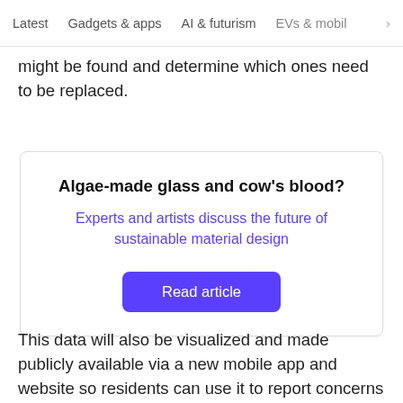Latest   Gadgets & apps   AI & futurism   EVs & mobil  >
might be found and determine which ones need to be replaced.
[Figure (other): Promotional card box with title 'Algae-made glass and cow’s blood?', subtitle link 'Experts and artists discuss the future of sustainable material design', and a purple 'Read article' button]
This data will also be visualized and made publicly available via a new mobile app and website so residents can use it to report concerns and